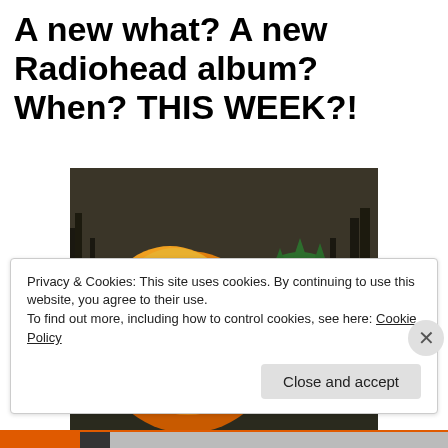A new what? A new Radiohead album? When? THIS WEEK?!
[Figure (illustration): Album cover art for Radiohead 'The King of Limbs' showing two cartoon creature characters — a round orange/yellow one on the left and a green spiky one on the right — against a dark forest background with white bold text reading 'RADIOHEAD' and 'THE KING OF LIMBS']
Privacy & Cookies: This site uses cookies. By continuing to use this website, you agree to their use.
To find out more, including how to control cookies, see here: Cookie Policy
Close and accept